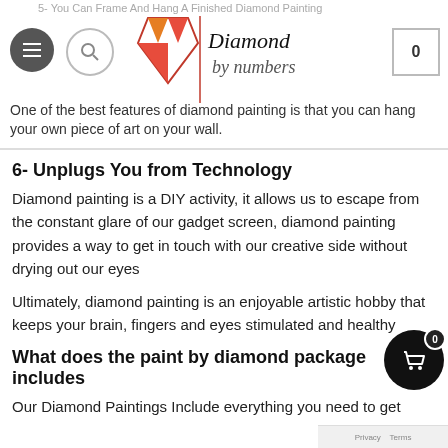5- You Can Frame And Hang A Finished Diamond Painting
[Figure (logo): Diamond by numbers logo with diamond icon and stylized text]
One of the best features of diamond painting is that you can hang your own piece of art on your wall.
6- Unplugs You from Technology
Diamond painting is a DIY activity, it allows us to escape from the constant glare of our gadget screen, diamond painting provides a way to get in touch with our creative side without drying out our eyes
Ultimately, diamond painting is an enjoyable artistic hobby that keeps your brain, fingers and eyes stimulated and healthy
What does the paint by diamond package includes
Our Diamond Paintings Include everything you need to get